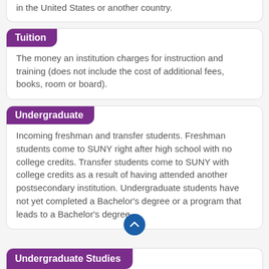A student who has attended a college or university in the United States or another country.
Tuition
The money an institution charges for instruction and training (does not include the cost of additional fees, books, room or board).
Undergraduate
Incoming freshman and transfer students. Freshman students come to SUNY right after high school with no college credits. Transfer students come to SUNY with college credits as a result of having attended another postsecondary institution. Undergraduate students have not yet completed a Bachelor's degree or a program that leads to a Bachelor's degree.
Undergraduate Studies